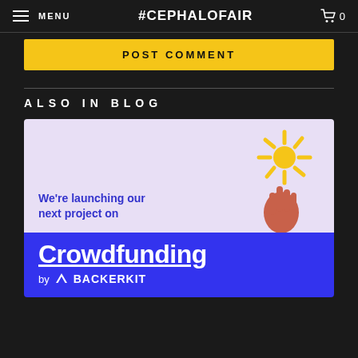≡ MENU   #CEPHALOFAIR   🛒 0
POST COMMENT
ALSO IN BLOG
[Figure (illustration): Blog card with lavender background showing a hand reaching toward a yellow starburst sun illustration, with text 'We're launching our next project on' and a blue bottom section with 'Crowdfunding by BackerKit']